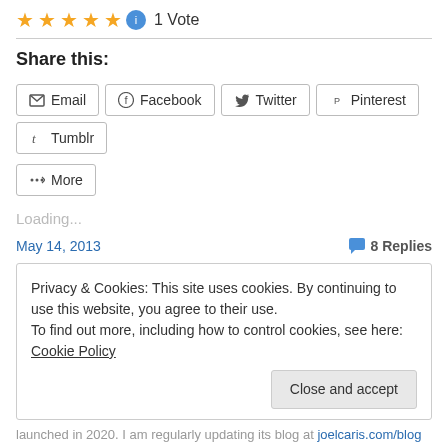★★★★★ 🔵 1 Vote
Share this:
Email | Facebook | Twitter | Pinterest | Tumblr | More
Loading...
May 14, 2013    💬 8 Replies
Privacy & Cookies: This site uses cookies. By continuing to use this website, you agree to their use.
To find out more, including how to control cookies, see here: Cookie Policy
[Close and accept]
launched in 2020. I am regularly updating its blog at joelcaris.com/blog